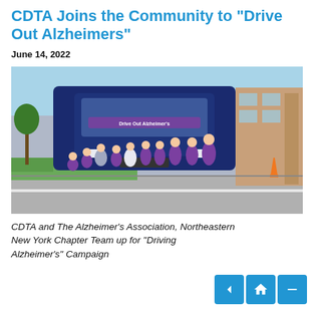CDTA Joins the Community to "Drive Out Alzheimers"
June 14, 2022
[Figure (photo): Group photo of approximately 11 people standing and crouching in front of a CDTA bus wrapped with Alzheimer's Association branding. Most people are wearing purple t-shirts. The setting is a parking lot on a sunny day, with a building and trees visible in the background.]
CDTA and The Alzheimer's Association, Northeastern New York Chapter Team up for "Driving Alzheimer's" Campaign